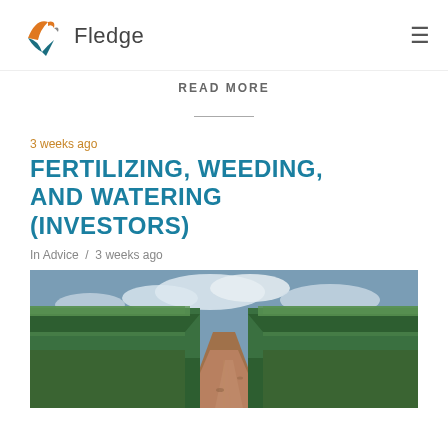Fledge
READ MORE
3 weeks ago
FERTILIZING, WEEDING, AND WATERING (INVESTORS)
In Advice / 3 weeks ago
[Figure (photo): A path or dirt road running between two tall rows of corn/maize crops, photographed from ground level looking into the distance, with a partly cloudy sky overhead.]